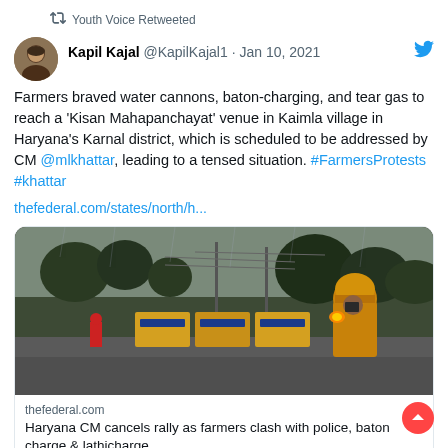Youth Voice Retweeted
Kapil Kajal @KapilKajal1 · Jan 10, 2021
Farmers braved water cannons, baton-charging, and tear gas to reach a 'Kisan Mahapanchayat' venue in Kaimla village in Haryana's Karnal district, which is scheduled to be addressed by CM @mlkhattar, leading to a tensed situation. #FarmersProtests #khattar
thefederal.com/states/north/h...
[Figure (photo): A person in yellow jacket and helmet near police barricades on a rainy day]
thefederal.com
Haryana CM cancels rally as farmers clash with police, baton charge & lathicharge...